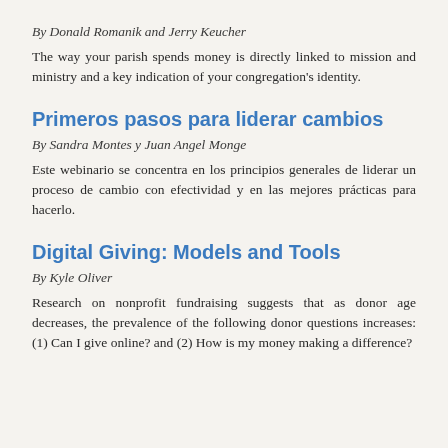By Donald Romanik and Jerry Keucher
The way your parish spends money is directly linked to mission and ministry and a key indication of your congregation's identity.
Primeros pasos para liderar cambios
By Sandra Montes y Juan Angel Monge
Este webinario se concentra en los principios generales de liderar un proceso de cambio con efectividad y en las mejores prácticas para hacerlo.
Digital Giving: Models and Tools
By Kyle Oliver
Research on nonprofit fundraising suggests that as donor age decreases, the prevalence of the following donor questions increases: (1) Can I give online? and (2) How is my money making a difference?